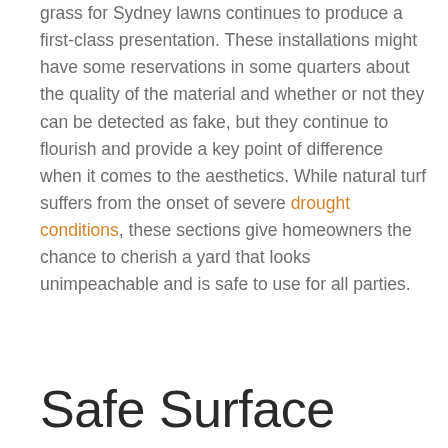grass for Sydney lawns continues to produce a first-class presentation. These installations might have some reservations in some quarters about the quality of the material and whether or not they can be detected as fake, but they continue to flourish and provide a key point of difference when it comes to the aesthetics. While natural turf suffers from the onset of severe drought conditions, these sections give homeowners the chance to cherish a yard that looks unimpeachable and is safe to use for all parties.
Safe Surface